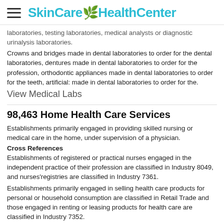SkinCare HealthCenter
laboratories, testing laboratories, medical analysts or diagnostic urinalysis laboratories.
Crowns and bridges made in dental laboratories to order for the dental laboratories, dentures made in dental laboratories to order for the profession, orthodontic appliances made in dental laboratories to order for the teeth, artificial: made in dental laboratories to order for the.
View Medical Labs
98,463 Home Health Care Services
Establishments primarily engaged in providing skilled nursing or medical care in the home, under supervision of a physician.
Cross References
Establishments of registered or practical nurses engaged in the independent practice of their profession are classified in Industry 8049, and nurses'registries are classified in Industry 7361.
Establishments primarily engaged in selling health care products for personal or household consumption are classified in Retail Trade and those engaged in renting or leasing products for health care are classified in Industry 7352.
Illustrated Examples